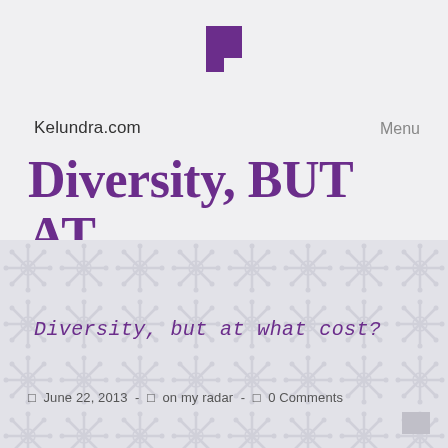[Figure (logo): Kelundra.com purple square bracket logo mark — two purple rectangles forming an angular bracket shape]
Kelundra.com    Menu
Diversity, but at what cost?
Diversity, but at what cost?
☐  June 22, 2013  -  ☐  on my radar  -  ☐  0 Comments